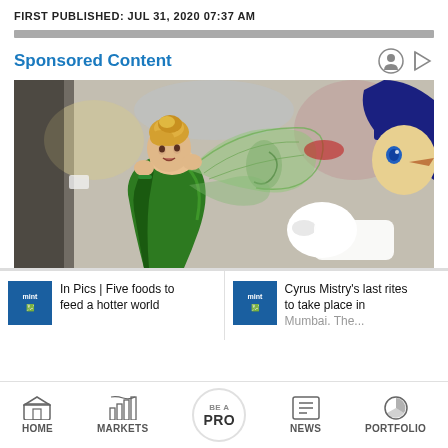FIRST PUBLISHED: JUL 31, 2020 07:37 AM
Sponsored Content
[Figure (photo): Tinker Bell character in green costume with fairy wings alongside Pinocchio Disney character, surrounded by crowds]
In Pics | Five foods to feed a hotter world
Cyrus Mistry's last rites to take place in Mumbai. The...
HOME | MARKETS | BE A PRO | NEWS | PORTFOLIO